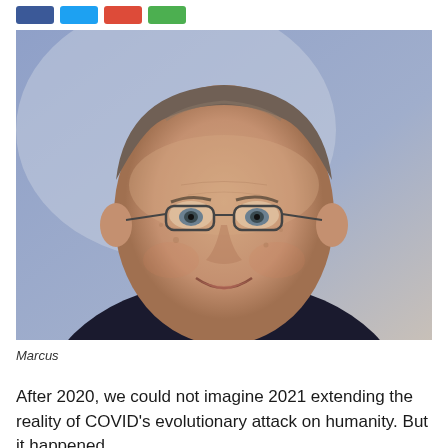[Figure (photo): Portrait photo of an elderly man named Marcus wearing glasses and a suit with a tie, smiling, against a blue-purple gradient background.]
Marcus
After 2020, we could not imagine 2021 extending the reality of COVID's evolutionary attack on humanity. But it happened